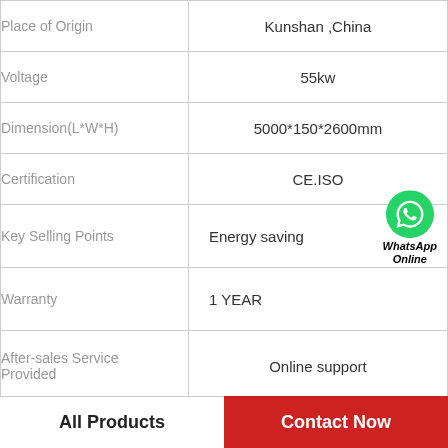| Property | Value |
| --- | --- |
| Place of Origin | Kunshan ,China |
| Voltage | 55kw |
| Dimension(L*W*H) | 5000*150*2600mm |
| Certification | CE.ISO |
| Key Selling Points | Energy saving |
| Warranty | 1 YEAR |
| After-sales Service Provided | Online support |
| Weight (KG) | 500KG |
|  |  |
All Products
Contact Now